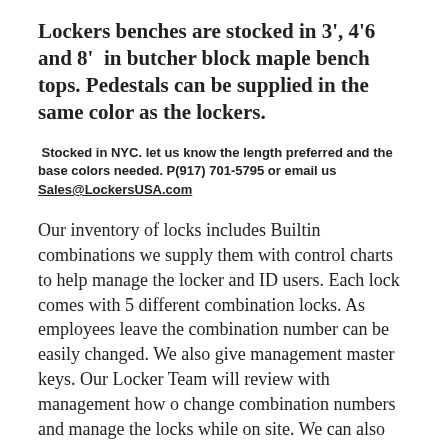Lockers benches are stocked in 3', 4'6 and 8'  in butcher block maple bench tops. Pedestals can be supplied in the same color as the lockers.
Stocked in NYC. let us know the length preferred and the base colors needed. P(917) 701-5795 or email us Sales@LockersUSA.com
Our inventory of locks includes Builtin combinations we supply them with control charts to help manage the locker and ID users. Each lock comes with 5 different combination locks. As employees leave the combination number can be easily changed. We also give management master keys. Our Locker Team will review with management how o change combination numbers and manage the locks while on site. We can also